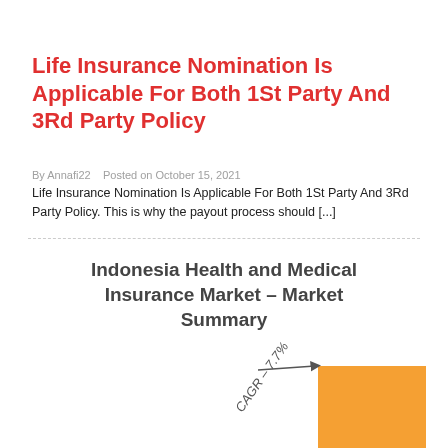Life Insurance Nomination Is Applicable For Both 1St Party And 3Rd Party Policy
By Annafi22   Posted on October 15, 2021
Life Insurance Nomination Is Applicable For Both 1St Party And 3Rd Party Policy. This is why the payout process should [...]
[Figure (bar-chart): Bar chart showing Indonesia Health and Medical Insurance Market summary with CAGR of 7.7%, partially visible orange bar at bottom right]